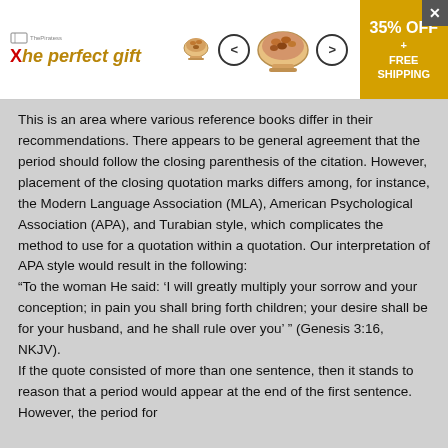[Figure (other): Advertisement banner for 'The perfect gift' featuring a decorative bowl with nuts/food, navigation arrows, logo, and a '35% OFF + FREE SHIPPING' offer badge. A close button (X) is in the top right corner.]
This is an area where various reference books differ in their recommendations. There appears to be general agreement that the period should follow the closing parenthesis of the citation. However, placement of the closing quotation marks differs among, for instance, the Modern Language Association (MLA), American Psychological Association (APA), and Turabian style, which complicates the method to use for a quotation within a quotation. Our interpretation of APA style would result in the following: “To the woman He said: ‘I will greatly multiply your sorrow and your conception; in pain you shall bring forth children; your desire shall be for your husband, and he shall rule over you’ ” (Genesis 3:16, NKJV). If the quote consisted of more than one sentence, then it stands to reason that a period would appear at the end of the first sentence. However, the period for